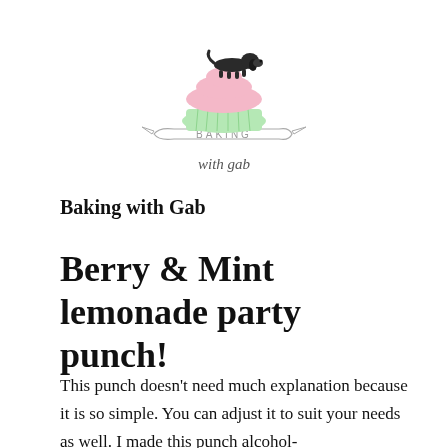[Figure (logo): Baking with Gab logo: a dachshund dog sitting on top of a layered cupcake (pink and green), with a ribbon banner reading 'BAKING' and cursive text 'with gab' below]
Baking with Gab
Berry & Mint lemonade party punch!
This punch doesn't need much explanation because it is so simple. You can adjust it to suit your needs as well. I made this punch alcohol-